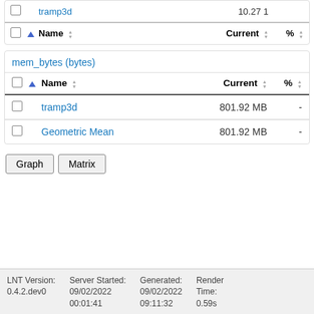|  |  | Name | Current | % |
| --- | --- | --- | --- | --- |
|  |  | tramp3d | 10.27 1 |  |
mem_bytes (bytes)
|  |  | Name | Current | % |
| --- | --- | --- | --- | --- |
|  |  | tramp3d | 801.92 MB | - |
|  |  | Geometric Mean | 801.92 MB | - |
Graph  Matrix
LNT Version: 0.4.2.dev0  Server Started: 09/02/2022 00:01:41  Generated: 09/02/2022 09:11:32  Render Time: 0.59s